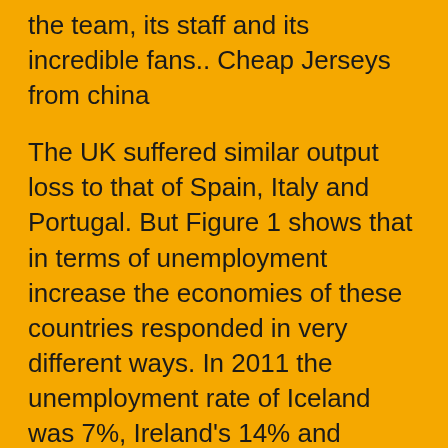the team, its staff and its incredible fans.. Cheap Jerseys from china
The UK suffered similar output loss to that of Spain, Italy and Portugal. But Figure 1 shows that in terms of unemployment increase the economies of these countries responded in very different ways. In 2011 the unemployment rate of Iceland was 7%, Ireland's 14% and Greece's 18%. https://www.focaljerseys.com
Cheap Jerseys china So now, Blood is actually the reason why I came up on writing this hub. What if I will make an article that will talk about vampires? Let's just talk about how much we loved these vampire characters. So get ready as I will present to you my top ten coolest and most handsome vampires. Cheap Jerseys china